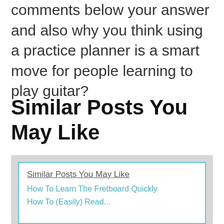comments below your answer and also why you think using a practice planner is a smart move for people learning to play guitar?
Similar Posts You May Like
[Figure (other): A widget card with a light blue border on a gray background showing links: 'Similar Posts You May Like', 'How To Learn The Fretboard Quickly', and a partial 'How To (Easily) Read...']